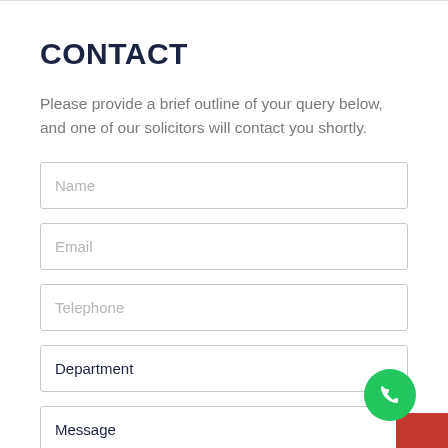CONTACT
Please provide a brief outline of your query below, and one of our solicitors will contact you shortly.
Name
Email
Telephone
Department
Message